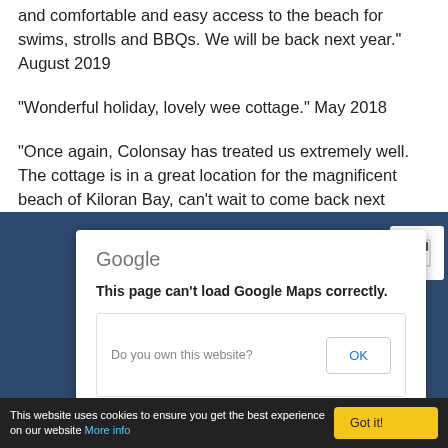and comfortable and easy access to the beach for swims, strolls and BBQs. We will be back next year." August 2019
"Wonderful holiday, lovely wee cottage." May 2018
"Once again, Colonsay has treated us extremely well. The cottage is in a great location for the magnificent beach of Kiloran Bay, can't wait to come back next year!" July 2017
[Figure (screenshot): Google Maps error dialog on a dark blue map background. The dialog reads 'Google' at top, then 'This page can't load Google Maps correctly.' with a box containing 'Do you own this website?' and an OK button. Below the page is a cookie consent bar: 'This website uses cookies to ensure you get the best experience on our website More info' with a 'Got it!' button.]